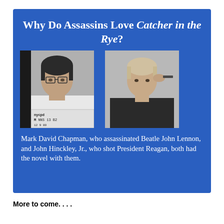[Figure (infographic): Blue background card titled 'Why Do Assassins Love Catcher in the Rye?' with two black-and-white photos: left is Mark David Chapman NYPD mugshot, right is John Hinckley Jr. photo. Below photos: text about Chapman and Hinckley both having the novel with them.]
More to come. . . .
================================================
=====